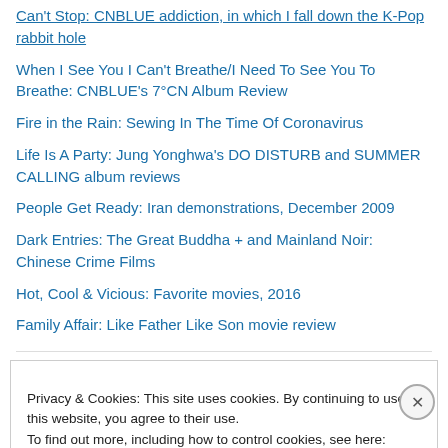Can't Stop: CNBLUE addiction, in which I fall down the K-Pop rabbit hole
When I See You I Can't Breathe/I Need To See You To Breathe: CNBLUE's 7°CN Album Review
Fire in the Rain: Sewing In The Time Of Coronavirus
Life Is A Party: Jung Yonghwa's DO DISTURB and SUMMER CALLING album reviews
People Get Ready: Iran demonstrations, December 2009
Dark Entries: The Great Buddha + and Mainland Noir: Chinese Crime Films
Hot, Cool & Vicious: Favorite movies, 2016
Family Affair: Like Father Like Son movie review
Privacy & Cookies: This site uses cookies. By continuing to use this website, you agree to their use. To find out more, including how to control cookies, see here: Cookie Policy
Close and accept